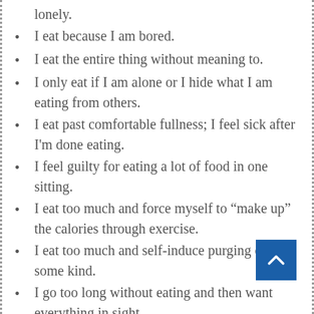lonely.
I eat because I am bored.
I eat the entire thing without meaning to.
I only eat if I am alone or I hide what I am eating from others.
I eat past comfortable fullness; I feel sick after I'm done eating.
I feel guilty for eating a lot of food in one sitting.
I eat too much and force myself to “make up” the calories through exercise.
I eat too much and self-induce purging of some kind.
I go too long without eating and then want everything in sight.
I purposefully go to bed hungry in hopes of losing